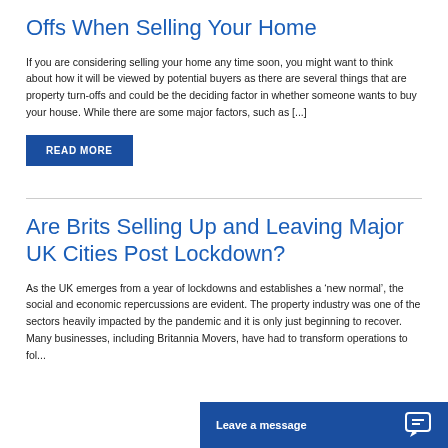Offs When Selling Your Home
If you are considering selling your home any time soon, you might want to think about how it will be viewed by potential buyers as there are several things that are property turn-offs and could be the deciding factor in whether someone wants to buy your house. While there are some major factors, such as [...]
READ MORE
Are Brits Selling Up and Leaving Major UK Cities Post Lockdown?
As the UK emerges from a year of lockdowns and establishes a ‘new normal’, the social and economic repercussions are evident. The property industry was one of the sectors heavily impacted by the pandemic and it is only just beginning to recover. Many businesses, including Britannia Movers, have had to transform operations to fol...
Leave a message